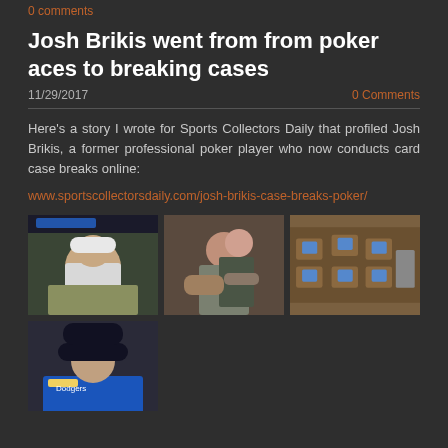0 comments
Josh Brikis went from from poker aces to breaking cases
11/29/2017
0 Comments
Here's a story I wrote for Sports Collectors Daily that profiled Josh Brikis, a former professional poker player who now conducts card case breaks online:
www.sportscollectorsdaily.com/josh-brikis-case-breaks-poker/
[Figure (photo): Man wearing white hoodie and Pittsburgh Pirates hat sitting at a table]
[Figure (photo): Two people sitting together in chairs]
[Figure (photo): Boxes with blue labels arranged on a table]
[Figure (photo): Man wearing blue Dodgers jersey and sunglasses with a hat]